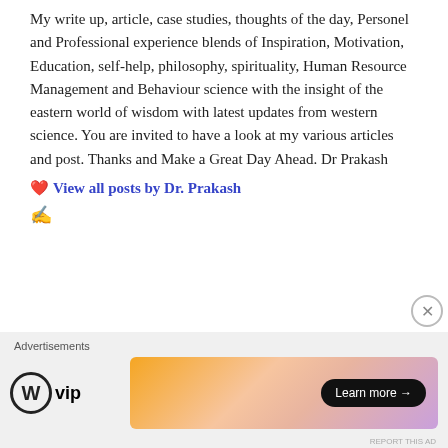My write up, article, case studies, thoughts of the day, Personel and Professional experience blends of Inspiration, Motivation, Education, self-help, philosophy, spirituality, Human Resource Management and Behaviour science with the insight of the eastern world of wisdom with latest updates from western science. You are invited to have a look at my various articles and post. Thanks and Make a Great Day Ahead. Dr Prakash
❤ View all posts by Dr. Prakash
✍
Advertisements
[Figure (logo): WordPress VIP logo with circle W and 'vip' text]
[Figure (illustration): Advertisement banner with colorful gradient background and 'Learn more →' button]